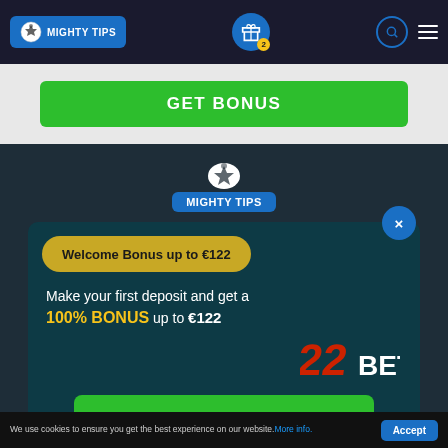MIGHTY TIPS navigation bar with logo, gift icon with badge 2, search icon, hamburger menu
GET BONUS
[Figure (logo): Mighty Tips logo with soccer ball icon centered on dark background]
Welcome Bonus up to €122
Make your first deposit and get a 100% BONUS up to €122
[Figure (logo): 22BET logo in red and white]
CLAIM THE BONUS
We use cookies to ensure you get the best experience on our website. More info.